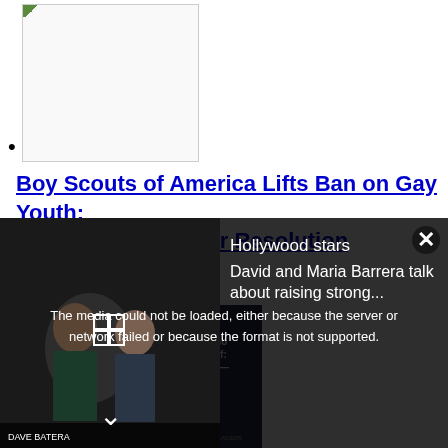[thumbnail image]
Boy Scouts of America Lifts Ban on Gay Youth; 61 Percent Voted for Resolution
Sponsored
[sponsored ad image: Helping Those Who Struggle with Grief: Blended Families — Born Out of Loss. The Summit. An event for ministry leaders.]
Helping Those Who Struggle with Grief
[Figure (screenshot): Video overlay: media could not be loaded error message. Hollywood stars David and Maria Barrera talk about raising strong...]
The media could not be loaded, either because the server or network failed or because the format is not supported.
Hollywood stars David and Maria Barrera talk about raising strong...